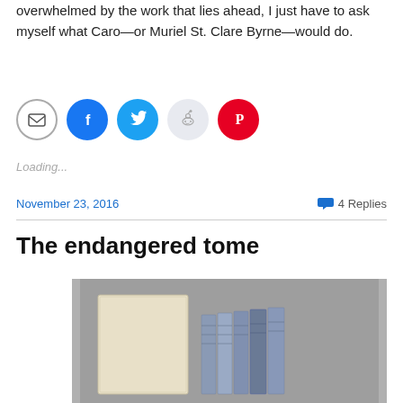overwhelmed by the work that lies ahead, I just have to ask myself what Caro—or Muriel St. Clare Byrne—would do.
[Figure (infographic): Row of social share buttons: email (grey), Facebook (blue), Twitter (light blue), Reddit (light grey), Pinterest (red)]
Loading...
November 23, 2016   💬 4 Replies
The endangered tome
[Figure (photo): Photo of books and a large pale rectangular box/tome on a grey surface]